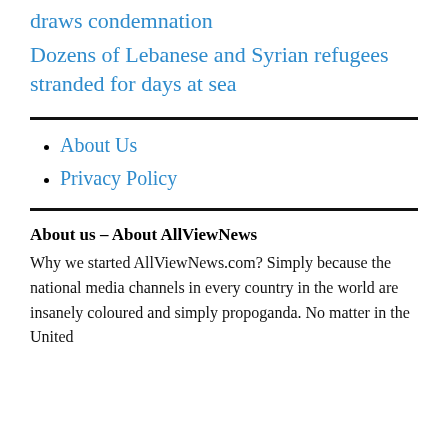draws condemnation Dozens of Lebanese and Syrian refugees stranded for days at sea
About Us
Privacy Policy
About us – About AllViewNews
Why we started AllViewNews.com? Simply because the national media channels in every country in the world are insanely coloured and simply propoganda. No matter in the United